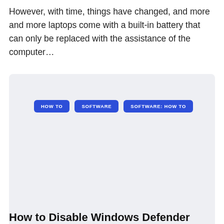However, with time, things have changed, and more and more laptops come with a built-in battery that can only be replaced with the assistance of the computer…
[Figure (other): A light gray card/panel containing three blue tag buttons labeled HOW TO, SOFTWARE, and SOFTWARE: HOW TO]
How to Disable Windows Defender